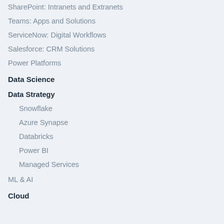SharePoint: Intranets and Extranets
Teams: Apps and Solutions
ServiceNow: Digital Workflows
Salesforce: CRM Solutions
Power Platforms
Data Science
Data Strategy
Snowflake
Azure Synapse
Databricks
Power BI
Managed Services
ML & AI
Cloud